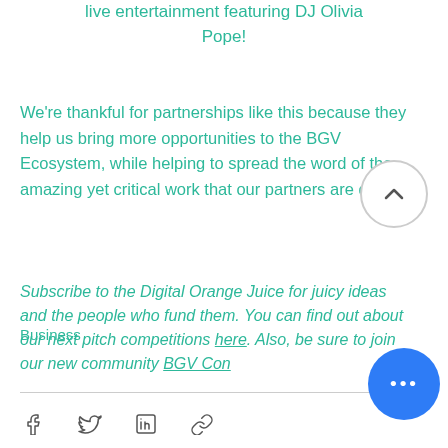live entertainment featuring DJ Olivia Pope!
We're thankful for partnerships like this because they help us bring more opportunities to the BGV Ecosystem, while helping to spread the word of the amazing yet critical work that our partners are doing.
Subscribe to the Digital Orange Juice for juicy ideas and the people who fund them. You can find out about our next pitch competitions here. Also, be sure to join our new community BGV Con...
Business